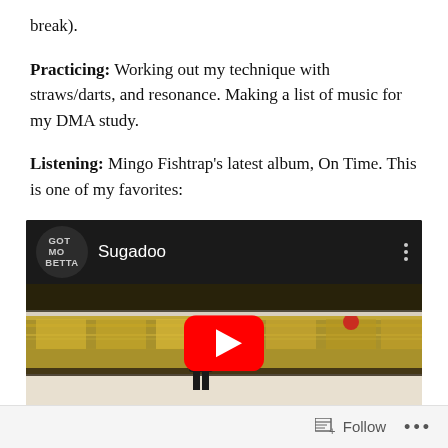break).
Practicing: Working out my technique with straws/darts, and resonance. Making a list of music for my DMA study.
Listening: Mingo Fishtrap’s latest album, On Time. This is one of my favorites:
[Figure (screenshot): Embedded YouTube video player showing a video titled 'Sugadoo' from a channel with logo showing 'GOT MO BETTA'. The thumbnail shows a person standing at a subway/train platform with a blurred passing train. A red YouTube play button is visible in the center of the thumbnail.]
Follow ...